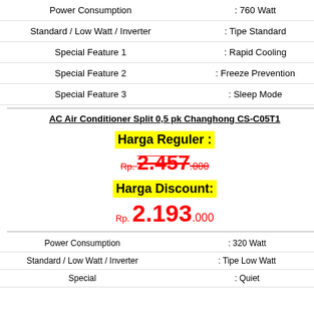| Feature | Value |
| --- | --- |
| Power Consumption | : 760 Watt |
| Standard / Low Watt / Inverter | : Tipe Standard |
| Special Feature 1 | : Rapid Cooling |
| Special Feature 2 | : Freeze Prevention |
| Special Feature 3 | : Sleep Mode |
AC Air Conditioner Split 0,5 pk Changhong CS-C05T1
Harga Reguler :
Rp. 2.457.000
Harga Discount:
Rp. 2.193.000
| Feature | Value |
| --- | --- |
| Power Consumption | : 320 Watt |
| Standard / Low Watt / Inverter | : Tipe Low Watt |
| Special | : Quiet |